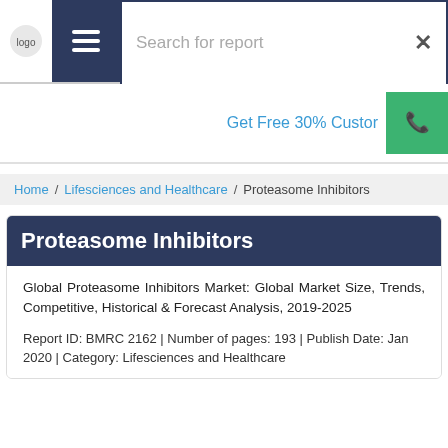Search for report
Get Free 30% Custom
Home / Lifesciences and Healthcare / Proteasome Inhibitors
Proteasome Inhibitors
Global Proteasome Inhibitors Market: Global Market Size, Trends, Competitive, Historical & Forecast Analysis, 2019-2025
Report ID: BMRC 2162 | Number of pages: 193 | Publish Date: Jan 2020 | Category: Lifesciences and Healthcare